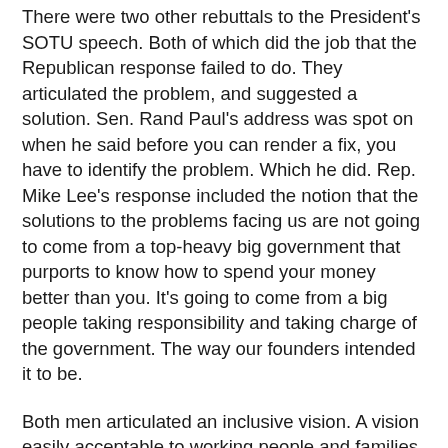There were two other rebuttals to the President's SOTU speech. Both of which did the job that the Republican response failed to do. They articulated the problem, and suggested a solution. Sen. Rand Paul's address was spot on when he said before you can render a fix, you have to identify the problem. Which he did. Rep. Mike Lee's response included the notion that the solutions to the problems facing us are not going to come from a top-heavy big government that purports to know how to spend your money better than you. It's going to come from a big people taking responsibility and taking charge of the government. The way our founders intended it to be.
Both men articulated an inclusive vision. A vision easily acceptable to working people and families from all political parties trying to fulfill that American Dream.
I encourage you to at least hear them in their own words, because you won't see them in the mainstream media.